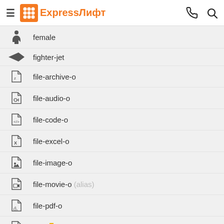ExpressЛифт — navigation header
female
fighter-jet
file-archive-o
file-audio-o
file-code-o
file-excel-o
file-image-o
file-movie-o (alias)
file-pdf-o
file-photo-o (alias)
file-picture-o (alias)
file-powerpoint-o